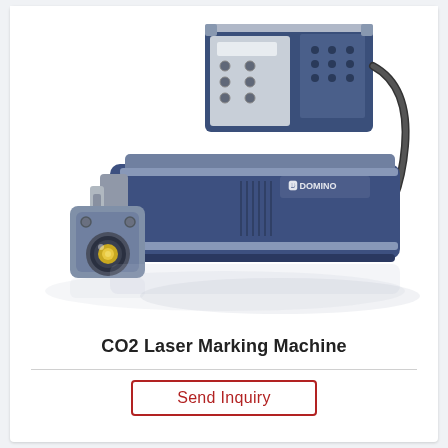[Figure (photo): Domino CO2 laser marking machine with control unit (blue and grey rectangular box with connectors on back) and laser head (elongated blue housing with grey metallic fittings and lens aperture at front end), photographed on white background with reflections.]
CO2 Laser Marking Machine
Send Inquiry